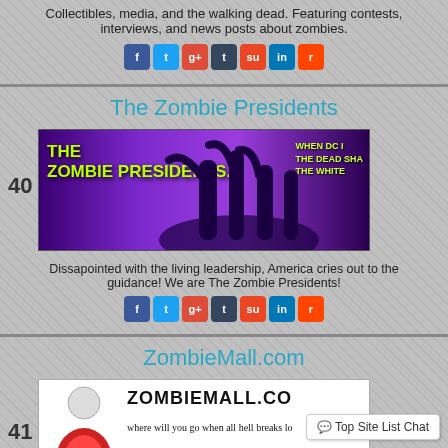Collectibles, media, and the walking dead. Featuring contests, interviews, and news posts about zombies.
The Zombie Presidents
[Figure (photo): The Zombie Presidents banner image with purple background, zombie silhouettes, and text: WHEN DC IS DEAD SHALL WALK THE WHITE...]
Dissapointed with the living leadership, America cries out to the guidance! We are The Zombie Presidents!
ZombieMall.com
[Figure (logo): ZombieMall.com logo with zombie clown figure and text: ZOMBIEMALL.COM where will you go when all hell breaks loose]
Where Zombies go to shop! Where will you go when all hell brea...